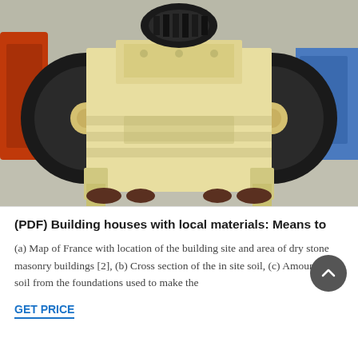[Figure (photo): Photograph of a jaw crusher machine with large black rubber wheels on both sides, a cream/yellow metal frame body, and a black belt/pulley system on top. The machine sits on a concrete surface. Other industrial equipment visible in the background in red/orange and blue colors.]
(PDF) Building houses with local materials: Means to
(a) Map of France with location of the building site and area of dry stone masonry buildings [2], (b) Cross section of the in site soil, (c) Amount of soil from the foundations used to make the
GET PRICE